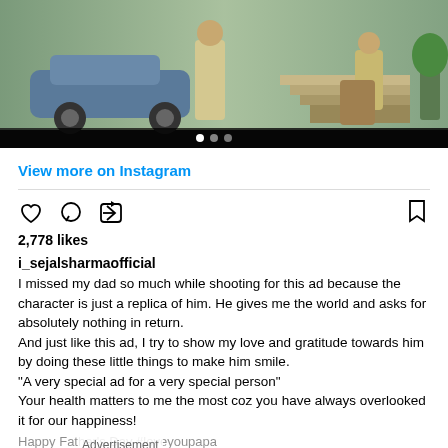[Figure (photo): Screenshot of an Instagram post showing two people near stairs and a car, with carousel navigation dots at the bottom]
View more on Instagram
2,778 likes
i_sejalsharmaofficial
I missed my dad so much while shooting for this ad because the character is just a replica of him. He gives me the world and asks for absolutely nothing in return.
And just like this ad, I try to show my love and gratitude towards him by doing these little things to make him smile.
"A very special ad for a very special person"
Your health matters to me the most coz you have always overlooked it for our happiness!
Happy Father's Day #loveyoupapa
#fathersday
YouTube Link - https://youtu.be/vl9haaEwwkg
Advertisement
View all 80 comments